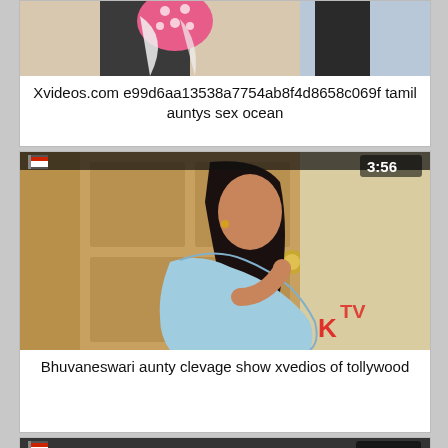[Figure (photo): Video thumbnail showing two people, one in a polka-dot dress, partially cropped at top]
Xvideos.com e99d6aa13538a7754ab8f4d8658c069f tamil auntys sex ocean
[Figure (photo): Video thumbnail showing a woman in light blue shawl near a door, KTV watermark, duration 3:56]
Bhuvaneswari aunty clevage show xvedios of tollywood
[Figure (photo): Video thumbnail partially visible at bottom, duration 5:30, showing people]